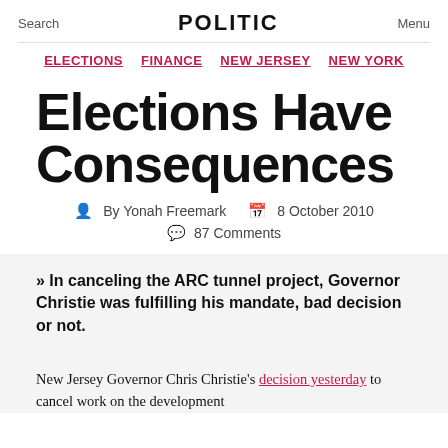Search  POLITIC  Menu
ELECTIONS  FINANCE  NEW JERSEY  NEW YORK
Elections Have Consequences
By Yonah Freemark  8 October 2010
87 Comments
» In canceling the ARC tunnel project, Governor Christie was fulfilling his mandate, bad decision or not.
New Jersey Governor Chris Christie's decision yesterday to cancel work on the development